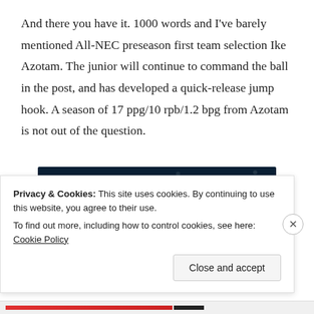And there you have it. 1000 words and I've barely mentioned All-NEC preseason first team selection Ike Azotam. The junior will continue to command the ball in the post, and has developed a quick-release jump hook. A season of 17 ppg/10 rpb/1.2 bpg from Azotam is not out of the question.
[Figure (screenshot): Advertisement banner with dark navy background showing text 'and forms.' in bold italic white, a pink 'Start now' button, scattered dot pattern, and a Crowdsignal logo circle in the bottom right.]
Privacy & Cookies: This site uses cookies. By continuing to use this website, you agree to their use.
To find out more, including how to control cookies, see here: Cookie Policy
Close and accept